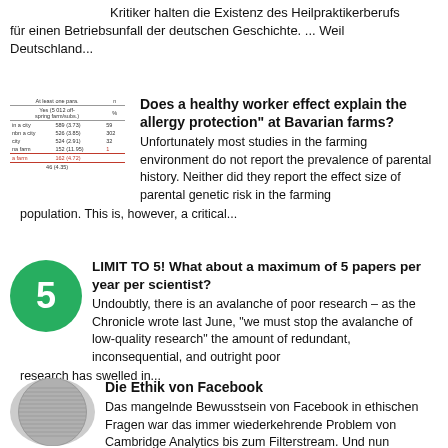Kritiker halten die Existenz des Heilpraktikerberufs für einen Betriebsunfall der deutschen Geschichte. ... Weil Deutschland...
[Figure (table-as-image): Small table showing farming environment data with columns for 'At least one para.' and 'Yes (5-012 offspring farm/subs.)' with rows for 'in a city', 'nbn a city', 'city', 'na farm', 'a farm' and a totals row.]
Does a healthy worker effect explain the allergy protection" at Bavarian farms? Unfortunately most studies in the farming environment do not report the prevalence of parental history. Neither did they report the effect size of parental genetic risk in the farming population. This is, however, a critical...
[Figure (illustration): Green circle with white number 5 in the center]
LIMIT TO 5! What about a maximum of 5 papers per year per scientist? Undoubtly, there is an avalanche of poor research – as the Chronicle wrote last June, "we must stop the avalanche of low-quality research" the amount of redundant, inconsequential, and outright poor research has swelled in...
[Figure (illustration): Circular grayscale thumbnail image with dense German text, representing a Facebook ethics article thumbnail]
Die Ethik von Facebook Das mangelnde Bewusstsein von Facebook in ethischen Fragen war das immer wiederkehrende Problem von Cambridge Analytics bis zum Filterstream. Und nun finanziert Facebook plötzlich